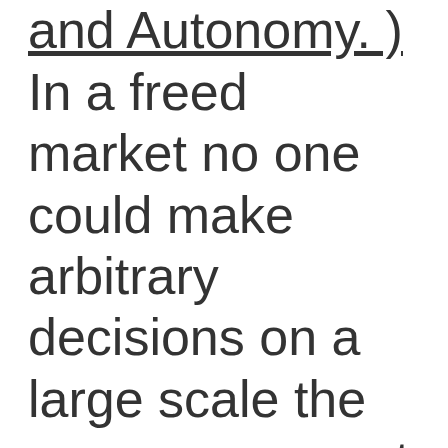and Autonomy. )
In a freed market no one could make arbitrary decisions on a large scale the way government can in a managed